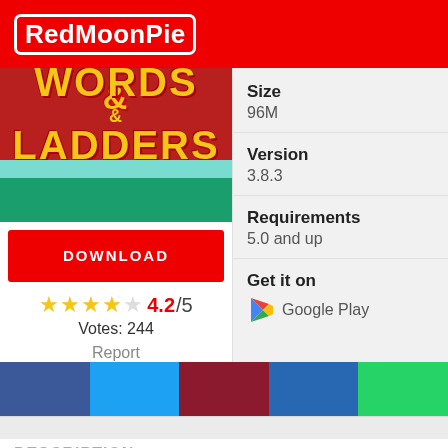RedMoonPie
[Figure (illustration): Words & Ladders game app icon/artwork showing bold yellow text 'WORDS & LADDERS' on a red background with green landscape at the bottom]
DOWNLOAD
★★★★☆ 4.2/5
Votes: 244
Report
Size
96M
Version
3.8.3
Requirements
5.0 and up
Get it on
Google Play
DESCRIPTION